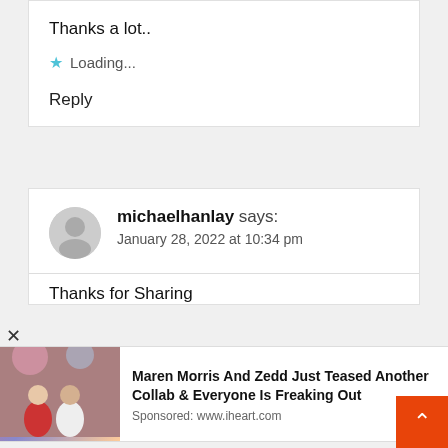Thanks a lot..
★ Loading...
Reply
michaelhanlay says:
January 28, 2022 at 10:34 pm
Thanks for Sharing
[Figure (photo): Sponsored ad: Maren Morris And Zedd Just Teased Another Collab & Everyone Is Freaking Out. Sponsored: www.iheart.com. Shows two people posing.]
Reply